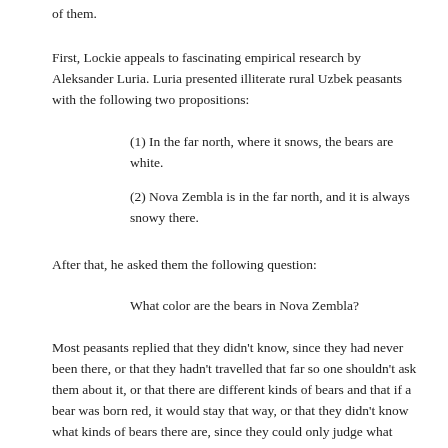of them.
First, Lockie appeals to fascinating empirical research by Aleksander Luria. Luria presented illiterate rural Uzbek peasants with the following two propositions:
(1) In the far north, where it snows, the bears are white.
(2) Nova Zembla is in the far north, and it is always snowy there.
After that, he asked them the following question:
What color are the bears in Nova Zembla?
Most peasants replied that they didn't know, since they had never been there, or that they hadn't travelled that far so one shouldn't ask them about it, or that there are different kinds of bears and that if a bear was born red, it would stay that way, or that they didn't know what kinds of bears there are, since they could only judge what they had seen.[4] Such responses are, of course, remarkable, for the answer that the bears in Nova Zembla are white obviously deductively follows from propositions (1) and (2). ...